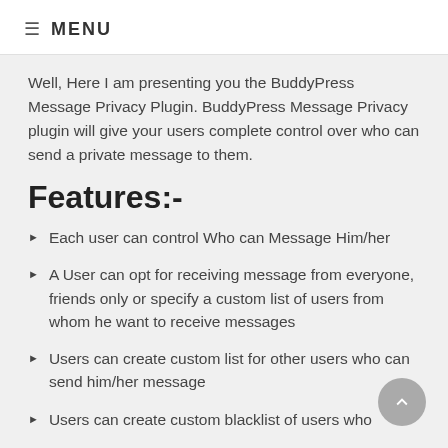≡  MENU
Well, Here I am presenting you the BuddyPress Message Privacy Plugin. BuddyPress Message Privacy plugin will give your users complete control over who can send a private message to them.
Features:-
Each user can control Who can Message Him/her
A User can opt for receiving message from everyone, friends only or specify a custom list of users from whom he want to receive messages
Users can create custom list for other users who can send him/her message
Users can create custom blacklist of users who